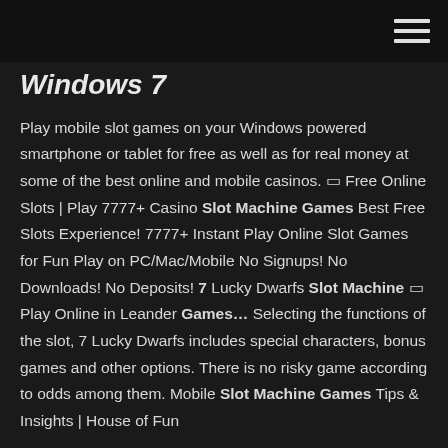Windows 7
Play mobile slot games on your Windows powered smartphone or tablet for free as well as for real money at some of the best online and mobile casinos. 🎰 Free Online Slots | Play 7777+ Casino Slot Machine Games Best Free Slots Experience! 7777+ Instant Play Online Slot Games for Fun Play on PC/Mac/Mobile No Signups! No Downloads! No Deposits! 7 Lucky Dwarfs Slot Machine 🎰 Play Online in Leander Games… Selecting the functions of the slot, 7 Lucky Dwarfs includes special characters, bonus games and other options. There is no risky game according to odds among them. Mobile Slot Machine Games Tips & Insights | House of Fun
Slot Machine G…